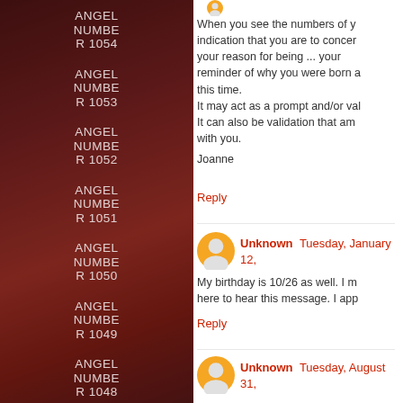ANGEL NUMBER 1054
ANGEL NUMBER 1053
ANGEL NUMBER 1052
ANGEL NUMBER 1051
ANGEL NUMBER 1050
ANGEL NUMBER 1049
ANGEL NUMBER 1048
ANGEL NUMBER 1047
When you see the numbers of y... indication that you are to concer... your reason for being ... your ... reminder of why you were born a... this time.
It may act as a prompt and/or val...
It can also be validation that am... with you.
Joanne
Reply
Unknown  Tuesday, January 12,
My birthday is 10/26 as well. I n... here to hear this message. I app...
Reply
Unknown  Tuesday, August 31,